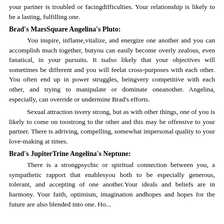your partner is troubled or facingdifficulties. Your relationship is likely to be a lasting, fulfilling one.
Brad's MarsSquare Angelina's Pluto:
You inspire, inflame,vitalize, and energize one another and you can accomplish much together, butyou can easily become overly zealous, even fanatical, in your pursuits. It isalso likely that your objectives will sometimes be different and you will feelat cross-purposes with each other. You often end up in power struggles, beingvery competitive with each other, and trying to manipulate or dominate oneanother. Angelina, especially, can override or undermine Brad's efforts.
Sexual attraction isvery strong, but as with other things, one of you is likely to come on toostrong to the other and this may be offensive to your partner. There is adriving, compelling, somewhat impersonal quality to your love-making at times.
Brad's JupiterTrine Angelina's Neptune:
There is a strongpsychic or spiritual connection between you, a sympathetic rapport that enablesyou both to be especially generous, tolerant, and accepting of one another.Your ideals and beliefs are in harmony. Your faith, optimism, imagination andhopes and hopes for the future are also blended into one. Ho...